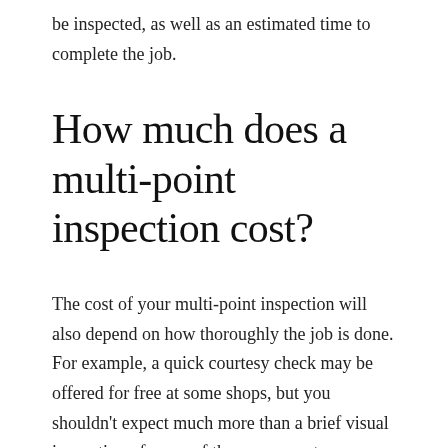be inspected, as well as an estimated time to complete the job.
How much does a multi-point inspection cost?
The cost of your multi-point inspection will also depend on how thoroughly the job is done. For example, a quick courtesy check may be offered for free at some shops, but you shouldn't expect much more than a brief visual inspection of some of the components described above. Meanwhile, a detailed inspection with diagnostic testing